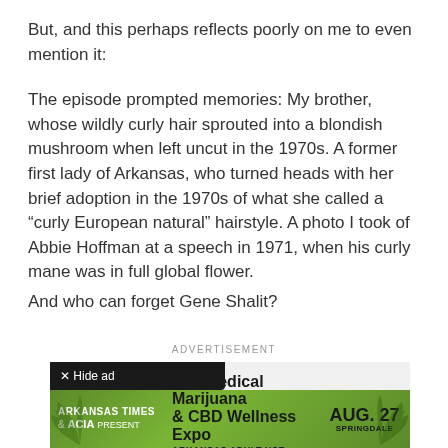But, and this perhaps reflects poorly on me to even mention it:
The episode prompted memories: My brother, whose wildly curly hair sprouted into a blondish mushroom when left uncut in the 1970s. A former first lady of Arkansas, who turned heads with her brief adoption in the 1970s of what she called a “curly European natural” hairstyle. A photo I took of Abbie Hoffman at a speech in 1971, when his curly mane was in full global flower.
And who can forget Gene Shalit?
ADVERTISEMENT
[Figure (other): Advertisement banner: Arkansas Times & ACIA Present The Medical Marijuana & CBD Wellness Expo AUG. 27 SPRINGDALE. Green background with cannabis leaf graphics. Has a 'x Hide ad' button overlay.]